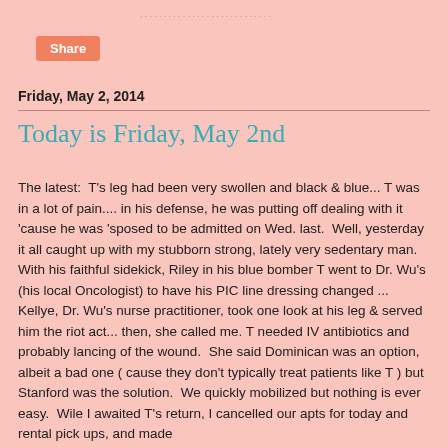[Figure (other): Dotted line / decorative element at top]
Share
Friday, May 2, 2014
Today is Friday, May 2nd
The latest:  T's leg had been very swollen and black & blue... T was in a lot of pain.... in his defense, he was putting off dealing with it 'cause he was 'sposed to be admitted on Wed. last.  Well, yesterday it all caught up with my stubborn strong, lately very sedentary man.  With his faithful sidekick, Riley in his blue bomber T went to Dr. Wu's (his local Oncologist) to have his PIC line dressing changed ... Kellye, Dr. Wu's nurse practitioner, took one look at his leg & served him the riot act... then, she called me. T needed IV antibiotics and probably lancing of the wound.  She said Dominican was an option, albeit a bad one ( cause they don't typically treat patients like T ) but Stanford was the solution.  We quickly mobilized but nothing is ever easy.  Wile I awaited T's return, I cancelled our apts for today and rental pick ups, and made